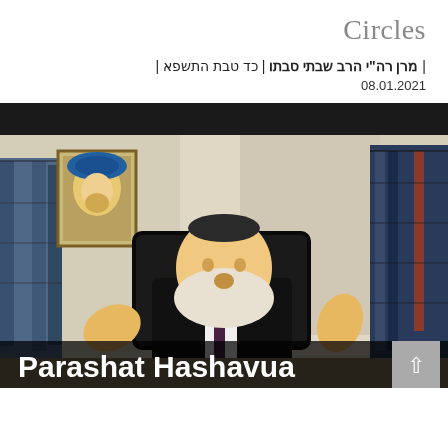Circles
| מרן רה"י הרב שבתי סבתו | כד טבת התשפא |
08.01.2021
[Figure (photo): Rabbi sitting at a desk gesturing with both hands, wearing a dark suit, white shirt, dark tie, and kippah, with a white beard. Books visible on both sides, a portrait painting on the left wall, and curtains in the background. Text overlay at bottom reads 'Parashat Hashavua'.]